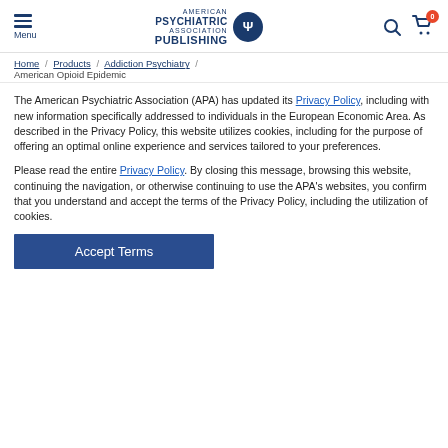Menu | American Psychiatric Association Publishing | Search | Cart (0)
Home / Products / Addiction Psychiatry / American Opioid Epidemic
The American Psychiatric Association (APA) has updated its Privacy Policy, including with new information specifically addressed to individuals in the European Economic Area. As described in the Privacy Policy, this website utilizes cookies, including for the purpose of offering an optimal online experience and services tailored to your preferences.
Please read the entire Privacy Policy. By closing this message, browsing this website, continuing the navigation, or otherwise continuing to use the APA's websites, you confirm that you understand and accept the terms of the Privacy Policy, including the utilization of cookies.
Accept Terms